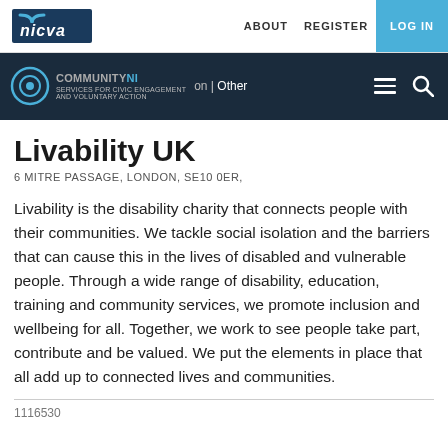nicva | ABOUT  REGISTER  LOG IN
COMMUNITYNI | Other
Livability UK
6 MITRE PASSAGE, LONDON, SE10 0ER,
Livability is the disability charity that connects people with their communities. We tackle social isolation and the barriers that can cause this in the lives of disabled and vulnerable people. Through a wide range of disability, education, training and community services, we promote inclusion and wellbeing for all. Together, we work to see people take part, contribute and be valued. We put the elements in place that all add up to connected lives and communities.
1116530